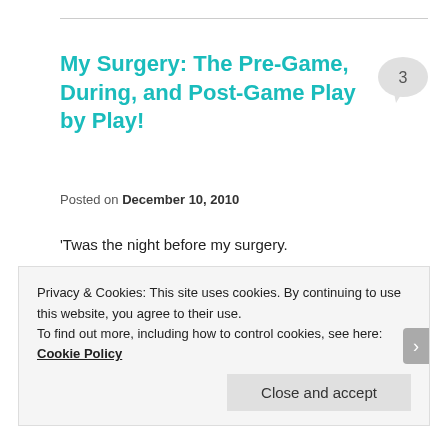My Surgery: The Pre-Game, During, and Post-Game Play by Play!
Posted on December 10, 2010
'Twas the night before my surgery.
Play by play for the newbies: I was diagnosed with basal cell carcinoma on my nose at the end of March. I got it removed at the beginning of April. After a second follow up
Privacy & Cookies: This site uses cookies. By continuing to use this website, you agree to their use.
To find out more, including how to control cookies, see here: Cookie Policy